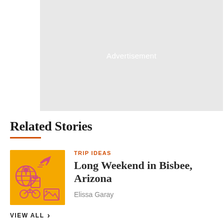[Figure (other): Gray advertisement placeholder block]
Related Stories
[Figure (illustration): Orange travel-themed illustration thumbnail with globe, luggage, bicycle, airplane icons in pink/magenta on orange background]
TRIP IDEAS
Long Weekend in Bisbee, Arizona
Elissa Garay
VIEW ALL >